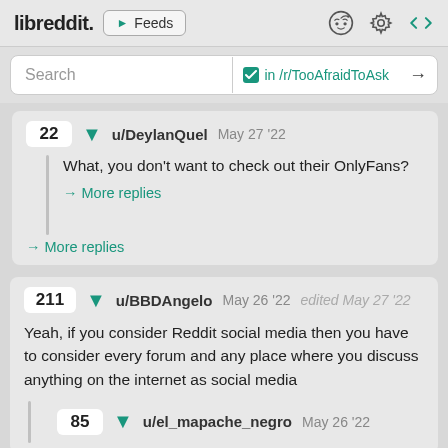libreddit. ▶ Feeds
Search  ✓ in /r/TooAfraidToAsk →
22 ▼ u/DeylanQuel May 27 '22
What, you don't want to check out their OnlyFans?
→ More replies
→ More replies
211 ▼ u/BBDAngelo May 26 '22 edited May 27 '22
Yeah, if you consider Reddit social media then you have to consider every forum and any place where you discuss anything on the internet as social media
85 ▼ u/el_mapache_negro May 26 '22